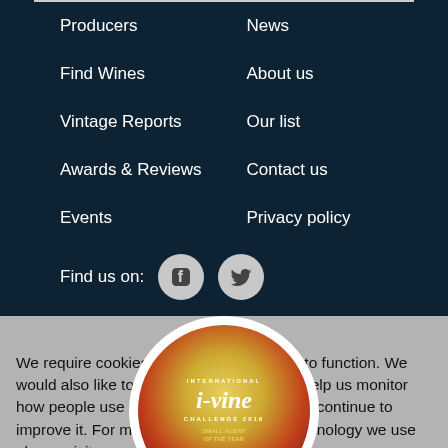Producers
News
Find Wines
About us
Vintage Reports
Our list
Awards & Reviews
Contact us
Events
Privacy policy
Find us on:
We require cookies to enable our website to function. We would also like to set analytics cookies to help us monitor how people use our website so that we can continue to improve it. For more information on the technology we use please visit our privacy notice.
Accept
No, customise